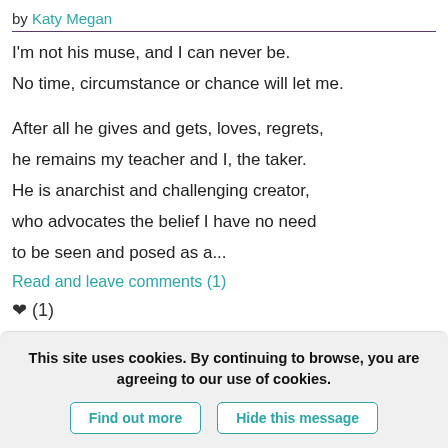by Katy Megan
I'm not his muse, and I can never be.
No time, circumstance or chance will let me.

After all he gives and gets, loves, regrets,
he remains my teacher and I, the taker.
He is anarchist and challenging creator,
who advocates the belief I have no need
to be seen and posed as a...
Read and leave comments (1)
❤ (1)
This site uses cookies. By continuing to browse, you are agreeing to our use of cookies.
Find out more
Hide this message